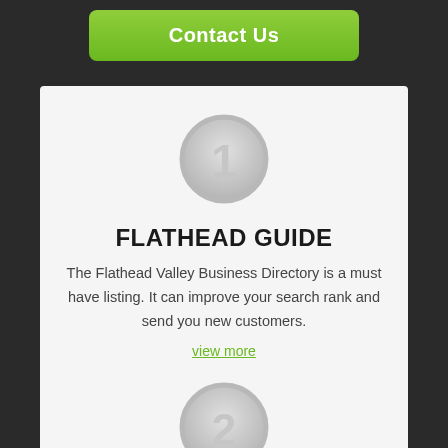Contact Us
[Figure (other): Circle with number 1 inside, styled with gray gradient border]
FLATHEAD GUIDE
The Flathead Valley Business Directory is a must have listing. It can improve your search rank and send you new customers.
view more
[Figure (other): Circle with number 2 inside, styled with gray gradient border]
MOBILE MARKETING